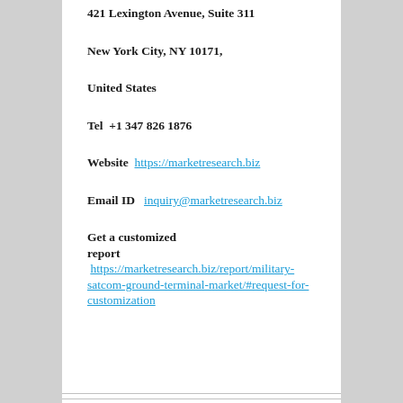421 Lexington Avenue, Suite 311
New York City, NY 10171,
United States
Tel  +1 347 826 1876
Website  https://marketresearch.biz
Email ID   inquiry@marketresearch.biz
Get a customized report  https://marketresearch.biz/report/military-satcom-ground-terminal-market/#request-for-customization